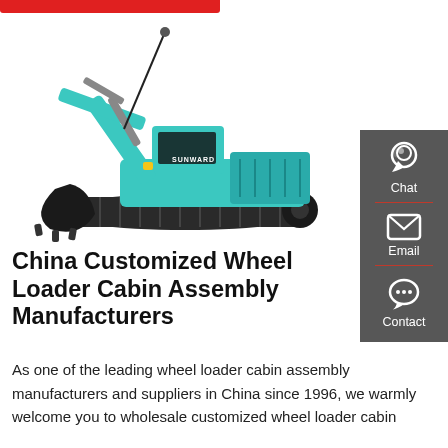[Figure (photo): Teal/cyan Sunward excavator on white background, showing full side profile with boom, arm, bucket, undercarriage with tracks, and cab]
[Figure (other): Dark grey sidebar with Chat (headset icon), Email (envelope icon), and Contact (chat bubble icon) buttons with red dividers]
China Customized Wheel Loader Cabin Assembly Manufacturers
As one of the leading wheel loader cabin assembly manufacturers and suppliers in China since 1996, we warmly welcome you to wholesale customized wheel loader cabin